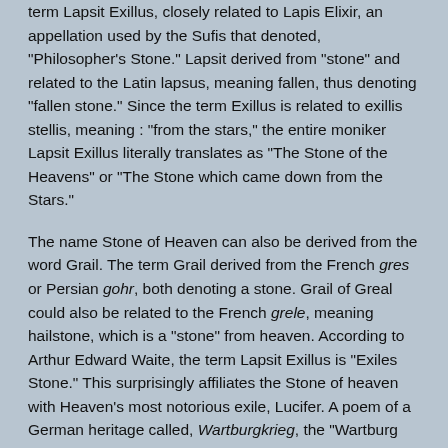term Lapsit Exillus, closely related to Lapis Elixir, an appellation used by the Sufis that denoted, "Philosopher's Stone." Lapsit derived from "stone" and related to the Latin lapsus, meaning fallen, thus denoting "fallen stone." Since the term Exillus is related to exillis stellis, meaning : "from the stars," the entire moniker Lapsit Exillus literally translates as "The Stone of the Heavens" or "The Stone which came down from the Stars."
The name Stone of Heaven can also be derived from the word Grail. The term Grail derived from the French gres or Persian gohr, both denoting a stone. Grail of Greal could also be related to the French grele, meaning hailstone, which is a "stone" from heaven. According to Arthur Edward Waite, the term Lapsit Exillus is "Exiles Stone." This surprisingly affiliates the Stone of heaven with Heaven's most notorious exile, Lucifer. A poem of a German heritage called, Wartburgkrieg, the "Wartburg War," summarizes the heavenly battle between Lucifer and St. Michael, and identifies the Stone of Heaven as a large emerald that became dislodged from Lucifer's crown and descended to Earth: